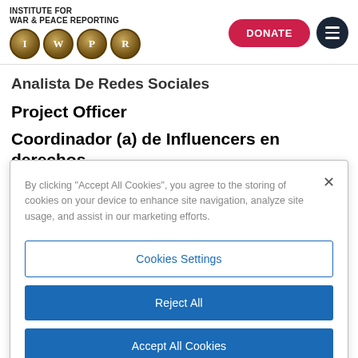[Figure (logo): Institute for War & Peace Reporting logo with four gold coins showing letters I, W, P, R]
Analista De Redes Sociales
Project Officer
Coordinador (a) de Influencers en derechos humanos
By clicking "Accept All Cookies", you agree to the storing of cookies on your device to enhance site navigation, analyze site usage, and assist in our marketing efforts.
Cookies Settings
Reject All
Accept All Cookies